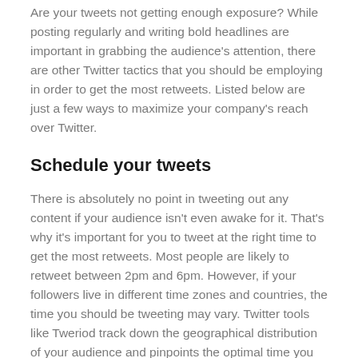Are your tweets not getting enough exposure? While posting regularly and writing bold headlines are important in grabbing the audience's attention, there are other Twitter tactics that you should be employing in order to get the most retweets. Listed below are just a few ways to maximize your company's reach over Twitter.
Schedule your tweets
There is absolutely no point in tweeting out any content if your audience isn't even awake for it. That's why it's important for you to tweet at the right time to get the most retweets. Most people are likely to retweet between 2pm and 6pm. However, if your followers live in different time zones and countries, the time you should be tweeting may vary. Twitter tools like Tweriod track down the geographical distribution of your audience and pinpoints the optimal time you should be tweeting to get the most retweets.